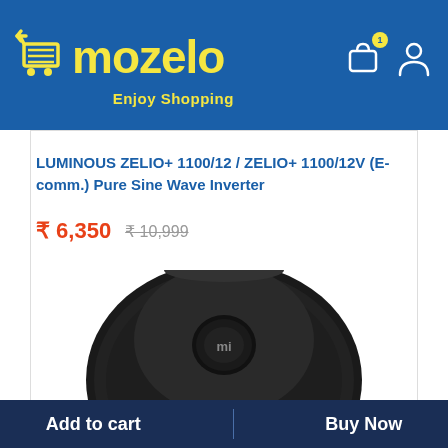mozelo Enjoy Shopping
LUMINOUS ZELIO+ 1100/12 / ZELIO+ 1100/12V (E-comm.) Pure Sine Wave Inverter
₹ 6,350  ₹ 10,999
[Figure (photo): Top view of a black circular robot vacuum cleaner with Mi logo button in the center]
Add to cart    Buy Now